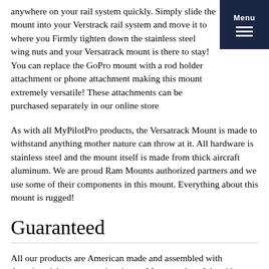anywhere on your rail system quickly. Simply slide the mount into your Verstrack rail system and move it to where you want. Firmly tighten down the stainless steel wing nuts and your Versatrack mount is there to stay! You can replace the GoPro mount with a rod holder attachment or phone attachment making this mount extremely versatile! These attachments can be purchased separately in our online store
As with all MyPilotPro products, the Versatrack Mount is made to withstand anything mother nature can throw at it. All hardware is stainless steel and the mount itself is made from thick aircraft aluminum. We are proud Ram Mounts authorized partners and we use some of their components in this mount. Everything about this mount is rugged!
Guaranteed
All our products are American made and assembled with American labor one at a time in our Montana shop. We pride ourselves sourcing our materials from American companies as well. Because we control the whole manufacturing process